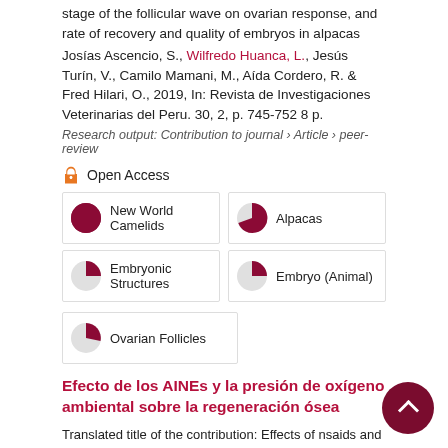stage of the follicular wave on ovarian response, and rate of recovery and quality of embryos in alpacas
Josías Ascencio, S., Wilfredo Huanca, L., Jesús Turín, V., Camilo Mamani, M., Aída Cordero, R. & Fred Hilari, O., 2019, In: Revista de Investigaciones Veterinarias del Peru. 30, 2, p. 745-752 8 p.
Research output: Contribution to journal › Article › peer-review
Open Access
New World Camelids
Alpacas
Embryonic Structures
Embryo (Animal)
Ovarian Follicles
Efecto de los AINEs y la presión de oxígeno ambiental sobre la regeneración ósea
Translated title of the contribution: Effects of nsaids and environmental oxygen pressure on bone regeneration
Chumpitaz-Cerrate, V., Chávez-Rimache, L., Franco-Quino, Aguirre-Siancas, E., Caldas-Cueva, V. & Ruíz-Ramírez, E., 1 Apr 2019, In: Journal of Oral Research. 8, 2, p. 352-358 7 p.